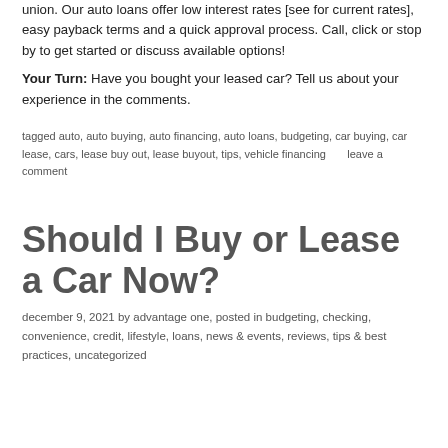union. Our auto loans offer low interest rates [see for current rates], easy payback terms and a quick approval process. Call, click or stop by to get started or discuss available options!
Your Turn: Have you bought your leased car? Tell us about your experience in the comments.
tagged auto, auto buying, auto financing, auto loans, budgeting, car buying, car lease, cars, lease buy out, lease buyout, tips, vehicle financing      leave a comment
Should I Buy or Lease a Car Now?
december 9, 2021 by advantage one, posted in budgeting, checking, convenience, credit, lifestyle, loans, news & events, reviews, tips & best practices, uncategorized